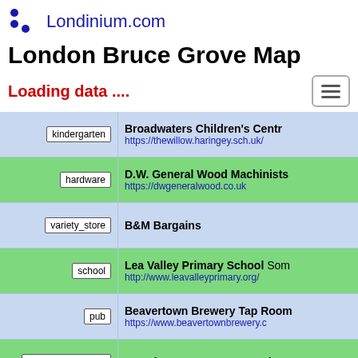Londinium.com
London Bruce Grove Map
Loading data ....
| category | name / url |
| --- | --- |
| kindergarten | Broadwaters Children's Centre | https://thewillow.haringey.sch.uk/ |
| hardware | D.W. General Wood Machinists | https://dwgeneralwood.co.uk |
| variety_store | B&M Bargains |
| school | Lea Valley Primary School Som... | http://www.leavalleyprimary.org/ |
| pub | Beavertown Brewery Tap Room | https://www.beavertownbrewery.c... |
| community_centre | Broadwater Farm Community... |